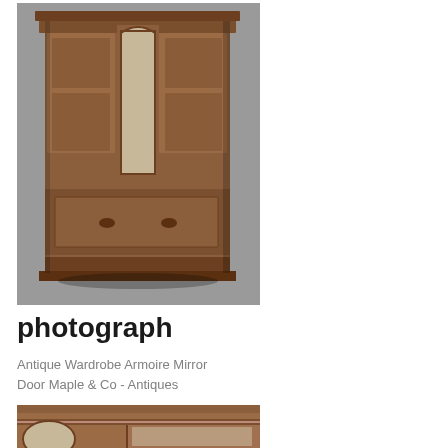[Figure (photo): Antique wooden wardrobe armoire with mirror door and lower drawer, photographed against a grey background]
photograph
Antique Wardrobe Armoire Mirror Door Maple & Co - Antiques
[Figure (photo): Close-up view of an antique wooden cabinet with oval mirror and glass panel door, photographed against a pink/red background]